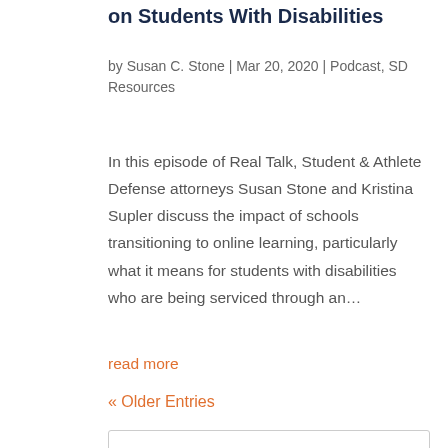on Students With Disabilities
by Susan C. Stone | Mar 20, 2020 | Podcast, SD Resources
In this episode of Real Talk, Student & Athlete Defense attorneys Susan Stone and Kristina Supler discuss the impact of schools transitioning to online learning, particularly what it means for students with disabilities who are being serviced through an…
read more
« Older Entries